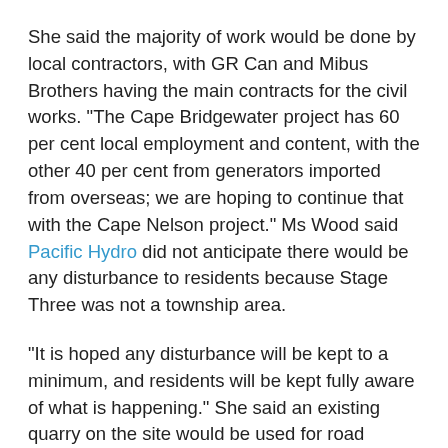She said the majority of work would be done by local contractors, with GR Can and Mibus Brothers having the main contracts for the civil works. "The Cape Bridgewater project has 60 per cent local employment and content, with the other 40 per cent from generators imported from overseas; we are hoping to continue that with the Cape Nelson project." Ms Wood said Pacific Hydro did not anticipate there would be any disturbance to residents because Stage Three was not a township area.
"It is hoped any disturbance will be kept to a minimum, and residents will be kept fully aware of what is happening." She said an existing quarry on the site would be used for road toppings on access tracks. "With the batching plant on site too, this should mean that there is not very much of an increase in trucks on the roads. It is likely that only one truck a day will be required to go to the site. "As soon as things become more finalised and movements are confirmed, the community will be made aware via a letterbox drop or a knock on the door." Ms Wood said it was really great to get the final approval for Stage Three and to be able to move